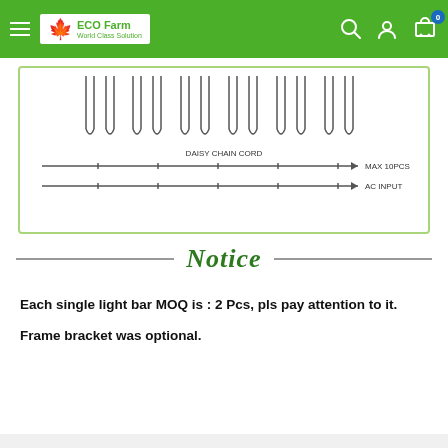ECO Farm — World Class Solution (navigation header with search, account, and cart icons)
[Figure (schematic): Engineering schematic showing daisy chain cord wiring diagram for LED light bars (MAX 10PCS) with AC INPUT label]
Notice
Each single light bar MOQ is : 2 Pcs, pls pay attention to it.
Frame bracket was optional.